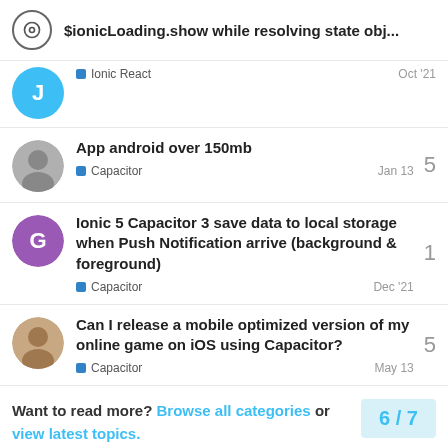$ionicLoading.show while resolving state obj...
Ionic React · Oct '21
App android over 150mb
Capacitor · Jan 13 · 5 replies
Ionic 5 Capacitor 3 save data to local storage when Push Notification arrive (background & foreground)
Capacitor · Dec '21 · 1 reply
Can I release a mobile optimized version of my online game on iOS using Capacitor?
Capacitor · May 13 · 5 replies
Want to read more? Browse all categories or view latest topics.
6 / 7